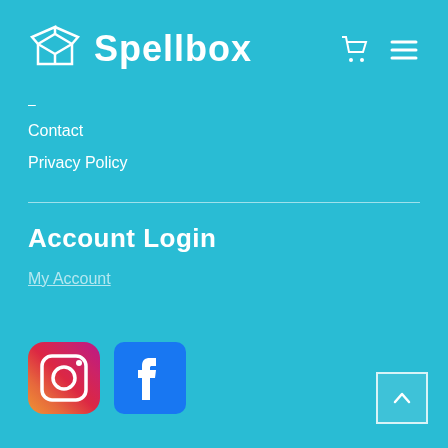Spellbox
–
Contact
Privacy Policy
Account Login
My Account
[Figure (logo): Instagram logo icon]
[Figure (logo): Facebook logo icon]